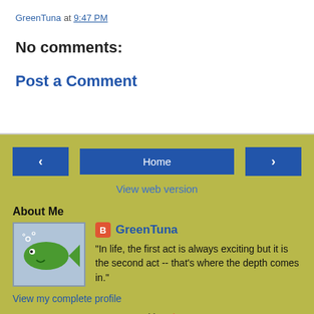GreenTuna at 9:47 PM
No comments:
Post a Comment
< Home >
View web version
About Me
[Figure (illustration): Green cartoon fish with smile on light blue background]
GreenTuna
"In life, the first act is always exciting but it is the second act -- that's where the depth comes in."
View my complete profile
Powered by Blogger.